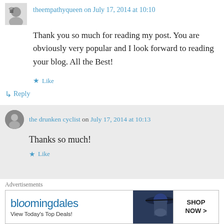theempathyqueen on July 17, 2014 at 10:10
Thank you so much for reading my post. You are obviously very popular and I look forward to reading your blog. All the Best!
Like
↳ Reply
the drunken cyclist on July 17, 2014 at 10:13
Thanks so much!
Like
Advertisements
[Figure (photo): Bloomingdales advertisement showing a woman in a hat with text View Today's Top Deals and SHOP NOW button]